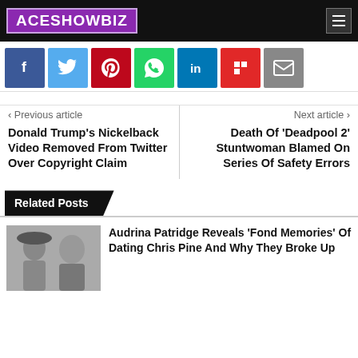ACESHOWBIZ
[Figure (infographic): Social media share buttons: Facebook, Twitter, Pinterest, WhatsApp, LinkedIn, Flipboard, Email]
< Previous article
Donald Trump's Nickelback Video Removed From Twitter Over Copyright Claim
Next article >
Death Of 'Deadpool 2' Stuntwoman Blamed On Series Of Safety Errors
Related Posts
Audrina Patridge Reveals 'Fond Memories' Of Dating Chris Pine And Why They Broke Up